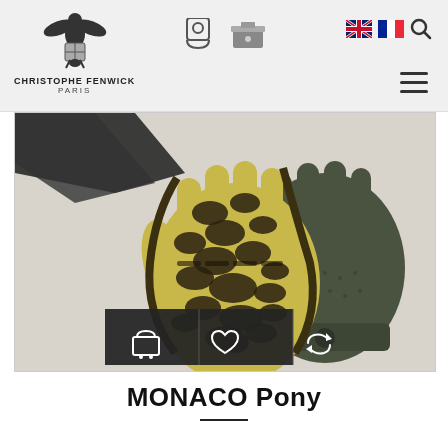CHRISTOPHE FENWICK PARIS — navigation bar with logo, icons, flags, search, and hamburger menu
[Figure (photo): Product photo of MONACO Pony driving gloves: one glove shows yellow/black leopard print pony hair on the back, the other shows perforated dark olive/khaki leather. Three dark action buttons (cart, wishlist, compare) overlay the bottom of the image.]
MONACO Pony